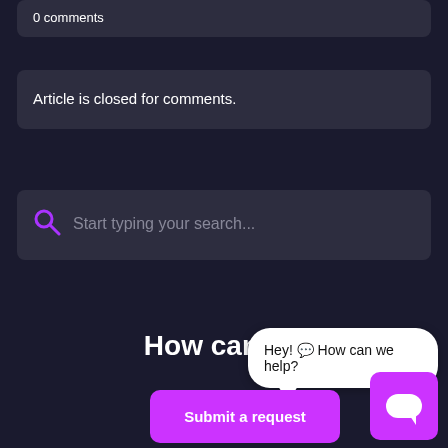0 comments
Article is closed for comments.
[Figure (screenshot): Search bar with purple magnifying glass icon and placeholder text 'Start typing your search...']
How can we
[Figure (screenshot): White speech bubble with text 'Hey! 💬 How can we help?']
[Figure (screenshot): Purple 'Submit a request' button]
[Figure (screenshot): Purple chat widget button in bottom right corner with chat icon]